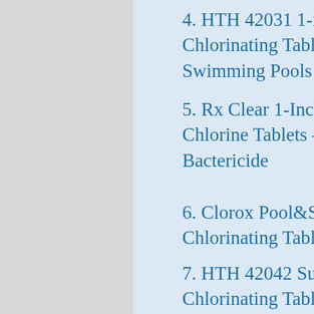4. HTH 42031 1-inch Chlorinating Tablets for Swimming Pools
5. Rx Clear 1-Inch Stabilized Chlorine Tablets – Use As Bactericide
6. Clorox Pool&Spa Active99 3” Chlorinating Tablets 12 lb
7. HTH 42042 Super 3″ Chlorinating Tablets Swimming Pool Chlorine